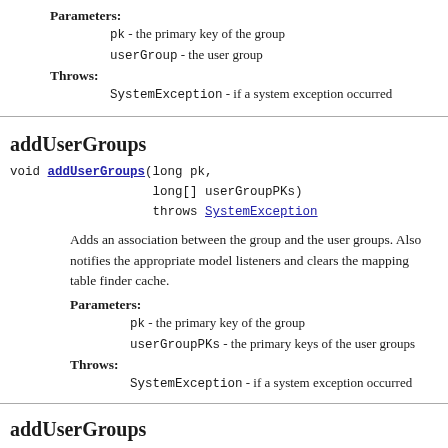Parameters:
pk - the primary key of the group
userGroup - the user group
Throws:
SystemException - if a system exception occurred
addUserGroups
void addUserGroups(long pk,
                   long[] userGroupPKs)
                   throws SystemException
Adds an association between the group and the user groups. Also notifies the appropriate model listeners and clears the mapping table finder cache.
Parameters:
pk - the primary key of the group
userGroupPKs - the primary keys of the user groups
Throws:
SystemException - if a system exception occurred
addUserGroups